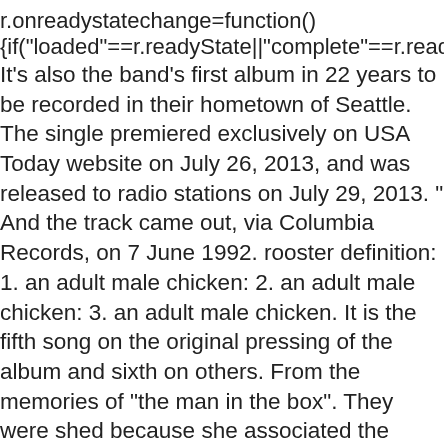r.onreadystatechange=function()
{if("loaded"==r.readyState||"complete"==r.readyState)r.on
It's also the band's first album in 22 years to be recorded in their hometown of Seattle. The single premiered exclusively on USA Today website on July 26, 2013, and was released to radio stations on July 29, 2013. " And the track came out, via Columbia Records, on 7 June 1992. rooster definition: 1. an adult male chicken: 2. an adult male chicken: 3. an adult male chicken. It is the fifth song on the original pressing of the album and sixth on others. From the memories of "the man in the box". They were shed because she associated the song's lyrics of love and loss with her mother, who was killed in a car accident in 1985. Song information for Rooster - Alice in Chains on AllMusic. song: "The Rooster", When you fire a long burst from a machine gun, the barrel tends to rise. Cantrell sings lead vocals in the song, while Heart lead singer Ann